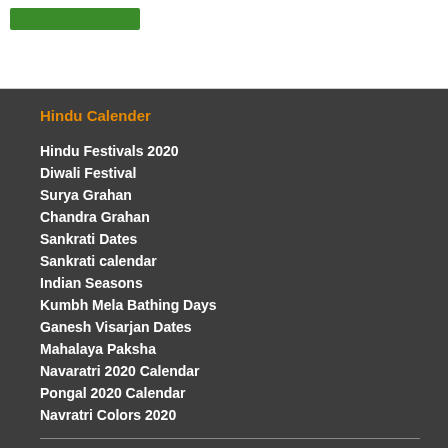[Figure (other): Green button/banner at top of page]
Hindu Calender
Hindu Festivals 2020
Diwali Festival
Surya Grahan
Chandra Grahan
Sankrati Dates
Sankrati calendar
Indian Seasons
Kumbh Mela Bathing Days
Ganesh Visarjan Dates
Mahalaya Paksha
Navaratri 2020 Calendar
Pongal 2020 Calendar
Navratri Colors 2020
Auspicious Muhurat